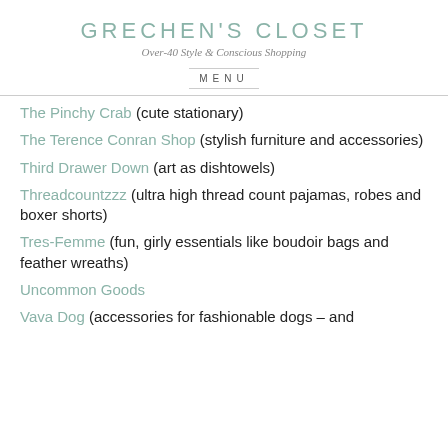GRECHEN'S CLOSET
Over-40 Style & Conscious Shopping
MENU
The Pinchy Crab (cute stationary)
The Terence Conran Shop (stylish furniture and accessories)
Third Drawer Down (art as dishtowels)
Threadcountzzz (ultra high thread count pajamas, robes and boxer shorts)
Tres-Femme (fun, girly essentials like boudoir bags and feather wreaths)
Uncommon Goods
Vava Dog (accessories for fashionable dogs – and owners)